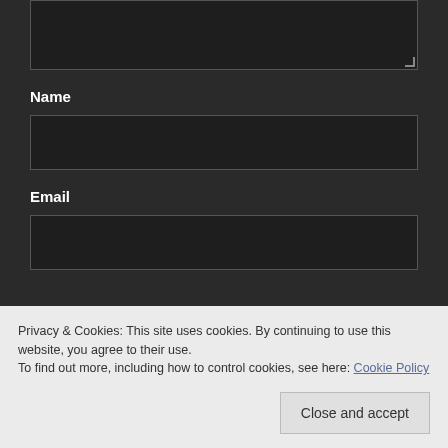[Figure (screenshot): A textarea input box with dark background and resize handle at bottom right]
Name
[Figure (screenshot): A text input field for Name with dark background]
Email
[Figure (screenshot): A text input field for Email with dark background]
Privacy & Cookies: This site uses cookies. By continuing to use this website, you agree to their use.
To find out more, including how to control cookies, see here: Cookie Policy
Close and accept